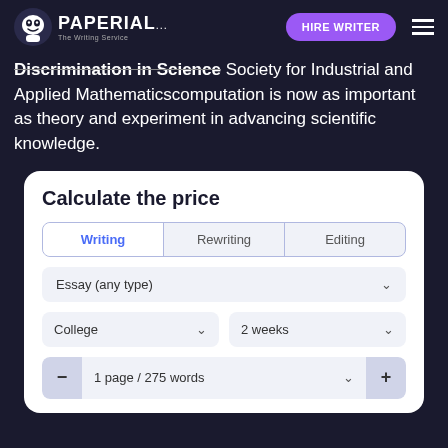PAPERIAL... HIRE WRITER
Discrimination in Science Society for Industrial and Applied Mathematicscomputation is now as important as theory and experiment in advancing scientific knowledge.
Calculate the price
Writing | Rewriting | Editing
Essay (any type)
College | 2 weeks
1 page / 275 words